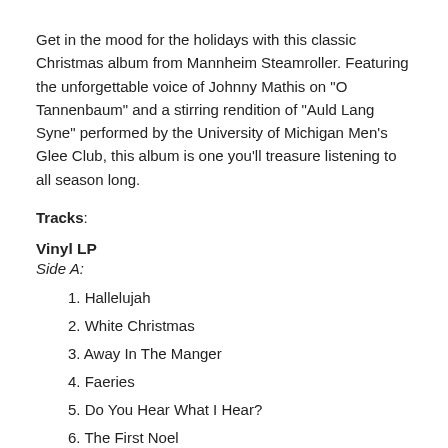Get in the mood for the holidays with this classic Christmas album from Mannheim Steamroller. Featuring the unforgettable voice of Johnny Mathis on "O Tannenbaum" and a stirring rendition of "Auld Lang Syne" performed by the University of Michigan Men's Glee Club, this album is one you'll treasure listening to all season long.
Tracks:
Vinyl LP
Side A:
1. Hallelujah
2. White Christmas
3. Away In The Manger
4. Faeries
5. Do You Hear What I Hear?
6. The First Noel